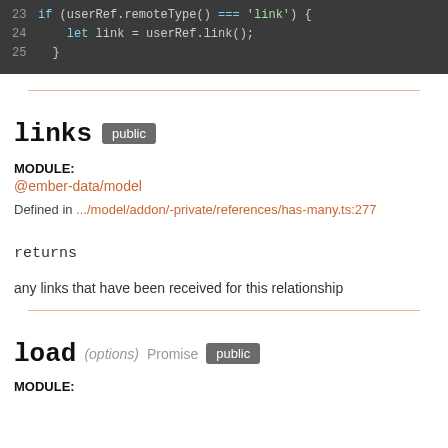[Figure (screenshot): Code block showing lines 23-25 of TypeScript code with dark background. Line 23: if (userRef.remoteType() === 'link') {  Line 24: let link = userRef.link();  Line 25: }]
links public
MODULE:
@ember-data/model
Defined in .../model/addon/-private/references/has-many.ts:277
returns
any links that have been received for this relationship
load (options) Promise public
MODULE: